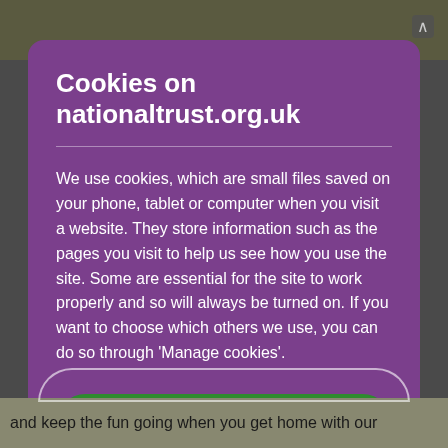Cookies on nationaltrust.org.uk
We use cookies, which are small files saved on your phone, tablet or computer when you visit a website. They store information such as the pages you visit to help us see how you use the site. Some are essential for the site to work properly and so will always be turned on. If you want to choose which others we use, you can do so through 'Manage cookies'.
Accept all cookies
and keep the fun going when you get home with our